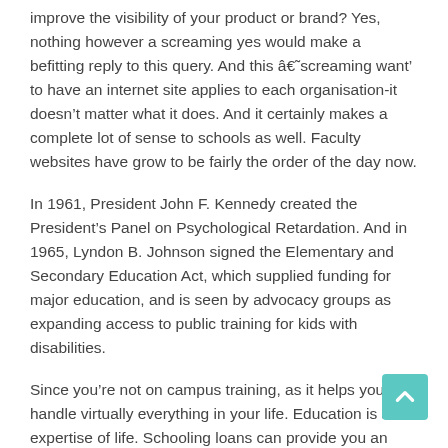improve the visibility of your product or brand? Yes, nothing however a screaming yes would make a befitting reply to this query. And this â€˜screaming want' to have an internet site applies to each organisation-it doesn't matter what it does. And it certainly makes a complete lot of sense to schools as well. Faculty websites have grow to be fairly the order of the day now.
In 1961, President John F. Kennedy created the President's Panel on Psychological Retardation. And in 1965, Lyndon B. Johnson signed the Elementary and Secondary Education Act, which supplied funding for major education, and is seen by advocacy groups as expanding access to public training for kids with disabilities.
Since you're not on campus training, as it helps you to handle virtually everything in your life. Education is an expertise of life. Schooling loans can provide you an incentive to go over the novi continuing schooling of all